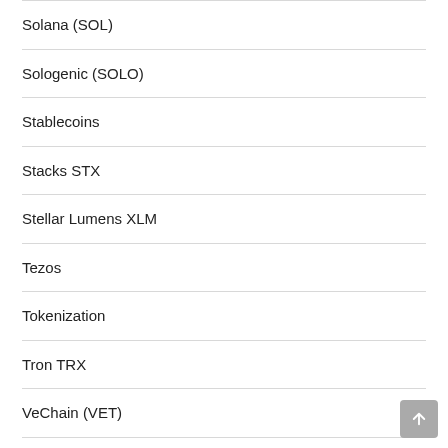Solana (SOL)
Sologenic (SOLO)
Stablecoins
Stacks STX
Stellar Lumens XLM
Tezos
Tokenization
Tron TRX
VeChain (VET)
Share The News!
[Figure (other): Social share buttons: Twitter, Facebook, Pinterest, LinkedIn, Reddit]